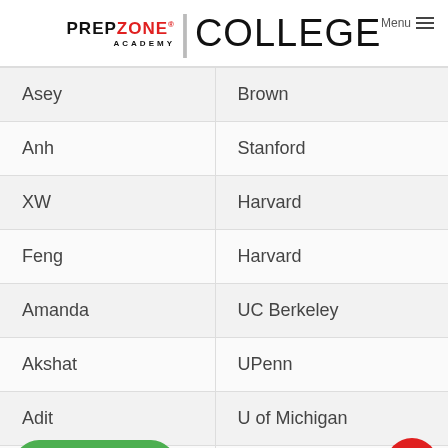PREPZONE ACADEMY | COLLEGE Menu
| Asey | Brown |
| Anh | Stanford |
| XW | Harvard |
| Feng | Harvard |
| Amanda | UC Berkeley |
| Akshat | UPenn |
| Adit | U of Michigan |
|  | UCLA |
Whatsapp
[Figure (other): Red chat bubble button in bottom right corner]